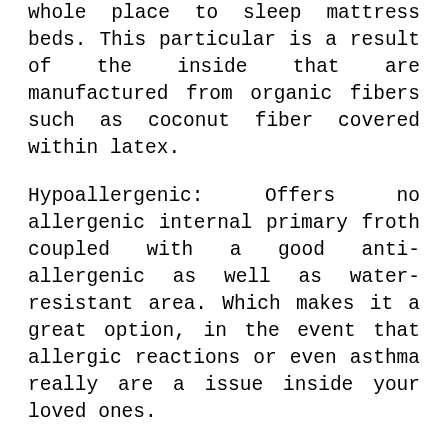whole place to sleep mattress beds. This particular is a result of the inside that are manufactured from organic fibers such as coconut fiber covered within latex.
Hypoallergenic: Offers no allergenic internal primary froth coupled with a good anti-allergenic as well as water-resistant area. Which makes it a great option, in the event that allergic reactions or even asthma really are a issue inside your loved ones.
Place to sleep bed Guard
The guard offers a number of essential features: This helps prevent the actual contact with dirt mites, as well as may improve resting comfort and ease.